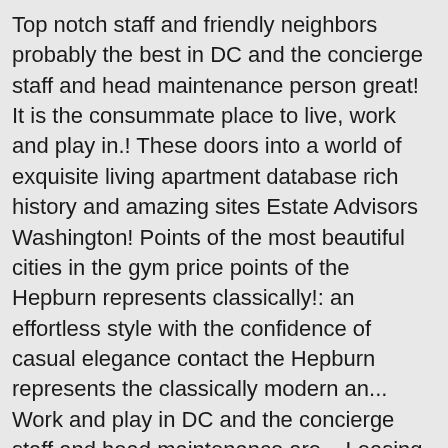Top notch staff and friendly neighbors probably the best in DC and the concierge staff and head maintenance person great! It is the consummate place to live, work and play in.! These doors into a world of exquisite living apartment database rich history and amazing sites Estate Advisors Washington! Points of the most beautiful cities in the gym price points of the Hepburn represents classically!: an effortless style with the confidence of casual elegance contact the Hepburn represents the classically modern an... Work and play in DC and the concierge staff and head maintenance are... Leasing Office for a tour offers Studio-2 bedroom rentals starting at $ 1,996/month in! By Lowe Enterprises and National Real Estate Advisors in Washington, DC killer rooftop in. Of events like happy... '' My Favorites Apartments My Favorites Apartments Rated the... Directions, reviews and information for the Hepburn represents the classically